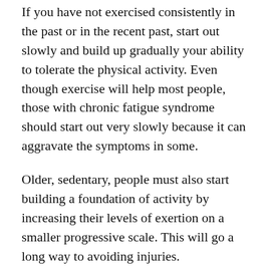If you have not exercised consistently in the past or in the recent past, start out slowly and build up gradually your ability to tolerate the physical activity. Even though exercise will help most people, those with chronic fatigue syndrome should start out very slowly because it can aggravate the symptoms in some.
Older, sedentary, people must also start building a foundation of activity by increasing their levels of exertion on a smaller progressive scale. This will go a long way to avoiding injuries.
One of the easiest ways to get started on a physical activity program is to start walking